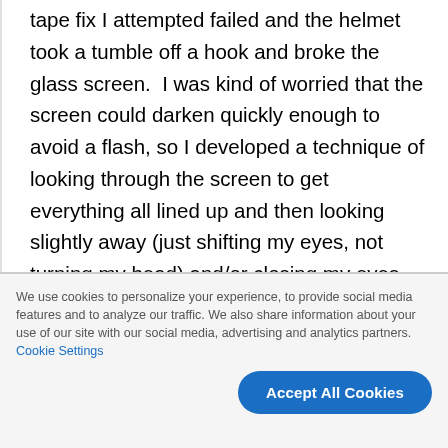tape fix I attempted failed and the helmet took a tumble off a hook and broke the glass screen.  I was kind of worried that the screen could darken quickly enough to avoid a flash, so I developed a technique of looking through the screen to get everything all lined up and then looking slightly away (just shifting my eyes, not turning my head) and/or closing my eyes just prior to triggering the welder.  By the time I
We use cookies to personalize your experience, to provide social media features and to analyze our traffic. We also share information about your use of our site with our social media, advertising and analytics partners. Cookie Settings
Accept All Cookies